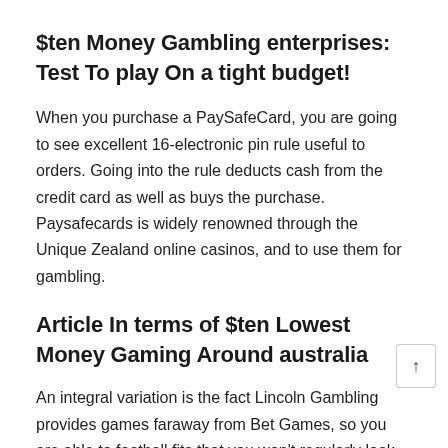$ten Money Gambling enterprises: Test To play On a tight budget!
When you purchase a PaySafeCard, you are going to see excellent 16-electronic pin rule useful to orders. Going into the rule deducts cash from the credit card as well as buys the purchase. Paysafecards is widely renowned through the Unique Zealand online casinos, and to use them for gambling.
Article In terms of $ten Lowest Money Gaming Around australia
An integral variation is the fact Lincoln Gambling provides games faraway from Bet Games, so you are able to football fits that you won't regularly look for right